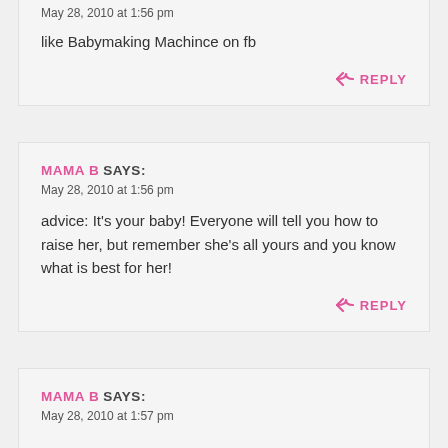May 28, 2010 at 1:56 pm
like Babymaking Machince on fb
REPLY
MAMA B SAYS:
May 28, 2010 at 1:56 pm
advice: It's your baby! Everyone will tell you how to raise her, but remember she's all yours and you know what is best for her!
REPLY
MAMA B SAYS:
May 28, 2010 at 1:57 pm